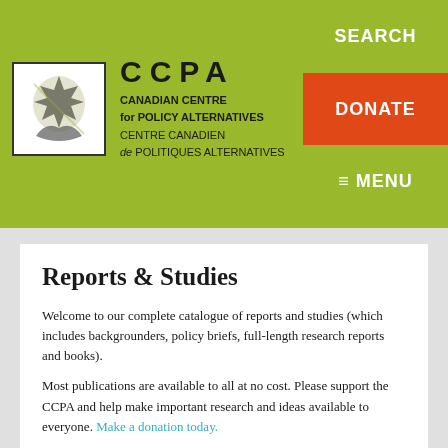[Figure (logo): CCPA Canadian Centre for Policy Alternatives / Centre Canadien de Politiques Alternatives logo with maple leaf graphic]
CCPA CANADIAN CENTRE for POLICY ALTERNATIVES CENTRE CANADIEN de POLITIQUES ALTERNATIVES | SEARCH | DONATE | MENU
Reports & Studies
Welcome to our complete catalogue of reports and studies (which includes backgrounders, policy briefs, full-length research reports and books).
Most publications are available to all at no cost. Please support the CCPA and help make important research and ideas available to everyone. Make a donation today.
Sticker Shock
The Impending Cost of BC Hydro's Shift to Private Power Developers